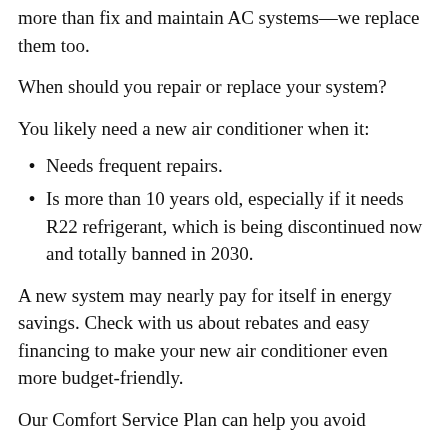more than fix and maintain AC systems—we replace them too.
When should you repair or replace your system?
You likely need a new air conditioner when it:
Needs frequent repairs.
Is more than 10 years old, especially if it needs R22 refrigerant, which is being discontinued now and totally banned in 2030.
A new system may nearly pay for itself in energy savings. Check with us about rebates and easy financing to make your new air conditioner even more budget-friendly.
Our Comfort Service Plan can help you avoid